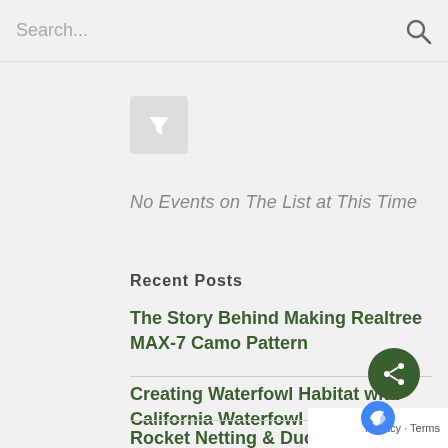Search...
[Figure (other): Filter button icon (funnel/filter symbol in a grey square button)]
No Events on The List at This Time
Recent Posts
The Story Behind Making Realtree MAX-7 Camo Pattern
Creating Waterfowl Habitat with California Waterfowl Association
Rocket Netting & Duck Banding with California Waterfowl Conservation
[Figure (other): Green circular share button with network/share icon]
Privacy · Terms